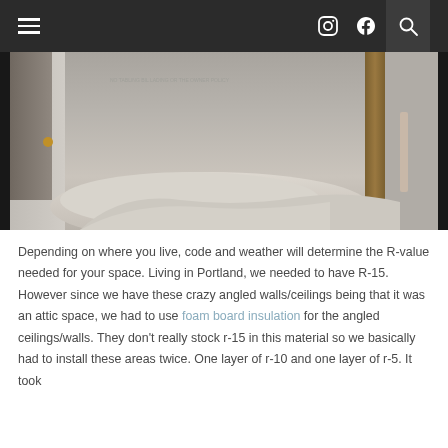≡  [Instagram icon] [Pinterest icon] [Search icon]
[Figure (photo): Interior photo of an attic space or utility room showing concrete/plaster walls, a wooden door frame on the left, fabric/drop cloths piled on the floor, and a wooden beam on the right side.]
Depending on where you live, code and weather will determine the R-value needed for your space. Living in Portland, we needed to have R-15. However since we have these crazy angled walls/ceilings being that it was an attic space, we had to use foam board insulation for the angled ceilings/walls. They don't really stock r-15 in this material so we basically had to install these areas twice. One layer of r-10 and one layer of r-5. It took